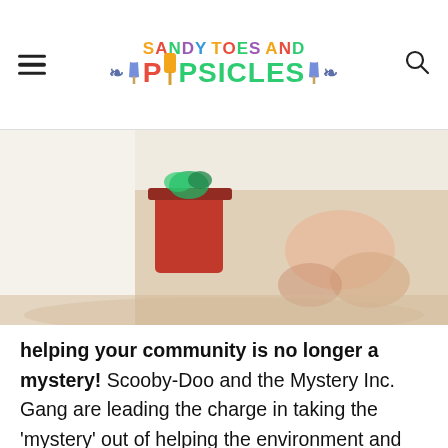SANDY TOES AND POPSICLES
[Figure (photo): Partial view of a child's sandy feet and a red bucket at the beach, warm tones]
helping your community is no longer a mystery! Scooby-Doo and the Mystery Inc. Gang are leading the charge in taking the 'mystery' out of helping the environment and are lending a hand (and paw) to protect our earth. there's only one piece of the puzzle missing - you!